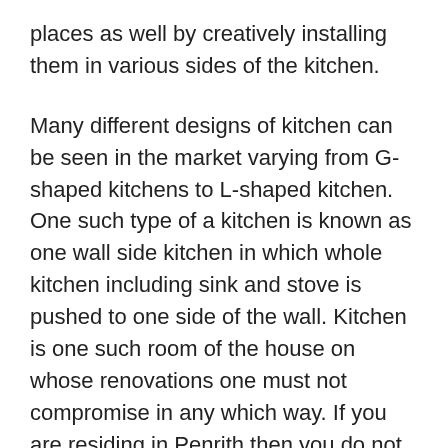places as well by creatively installing them in various sides of the kitchen.
Many different designs of kitchen can be seen in the market varying from G-shaped kitchens to L-shaped kitchen. One such type of a kitchen is known as one wall side kitchen in which whole kitchen including sink and stove is pushed to one side of the wall. Kitchen is one such room of the house on whose renovations one must not compromise in any which way. If you are residing in Penrith then you do not need to worry about kitchen or bathroom renovations as there is “Bridges bathroom solutions” that offers the best renovation services.
The need of kitchen and bathroom renovations: